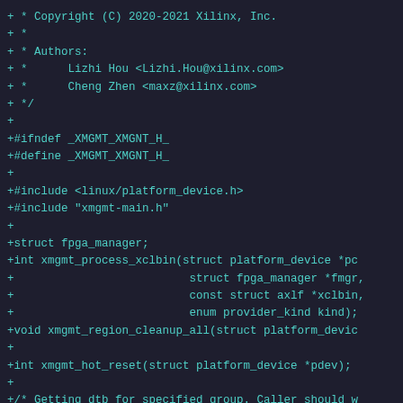[Figure (screenshot): A code diff view showing a C header file with additions marked by '+' prefix, displayed in teal/cyan monospace font on dark background. The code shows copyright notice, header guards, includes, and function declarations for xmgmt kernel module.]